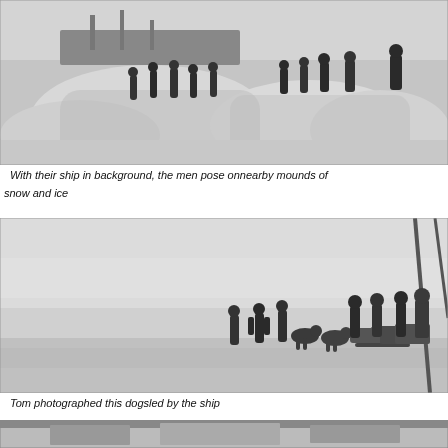[Figure (photo): Black and white historical photograph of a group of men posing on mounds of snow and ice, with a ship visible in the background.]
With their ship in background, the men pose onnearby mounds of snow and ice
[Figure (photo): Black and white historical photograph of men standing on a frozen expanse with sled dogs and dog sleds, with diagonal poles or masts visible on the right side.]
Tom photographed this dogsled by the ship
[Figure (photo): Black and white historical photograph, partially visible at the bottom of the page, showing a scene related to the expedition.]